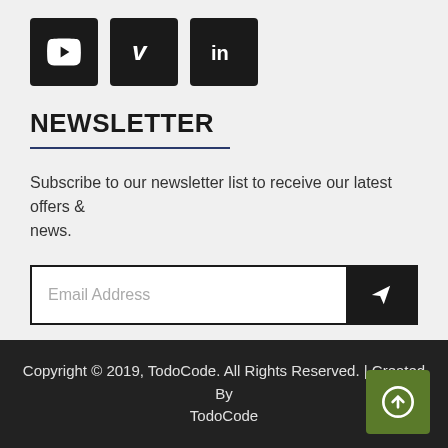[Figure (logo): Three social media icon buttons: YouTube, Vimeo, LinkedIn — dark square buttons with white icons]
NEWSLETTER
Subscribe to our newsletter list to receive our latest offers & news.
Email Address (input field with send button)
Copyright © 2019, TodoCode. All Rights Reserved. | Created By TodoCode